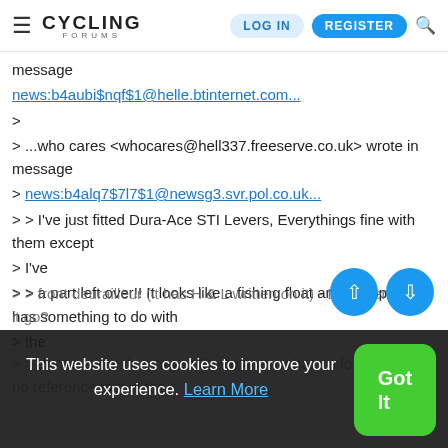Cycling Forums - LOG IN | REGISTER
message
news:b4aubi$nqf$1@helle.btinternet.com...
>
> ...who cares <whocares@hell337.freeserve.co.uk> wrote in message
> news:b4alq7$7l7$1@newsg3.svr.pol.co.uk...
> > I've just fitted Dura-Ace STI Levers, Everythings fine with them except
> I've
> > a part left over!! It looks like a fishing float and I suppose it has something to do with
> the
> > front deurailleur (it has H & L written on it) - But where does it go?
> |
> > don't need it, but I'd just like to know what it's for as there's no reference to it in the
This website uses cookies to improve your experience. Learn More